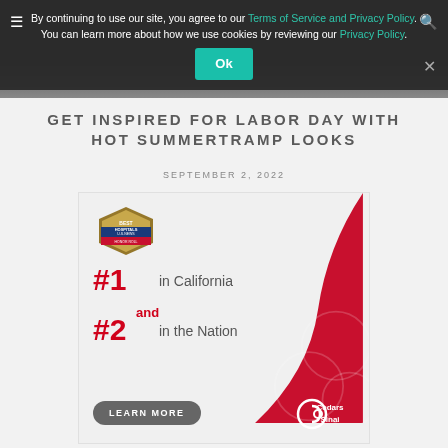By continuing to use our site, you agree to our Terms of Service and Privacy Policy. You can learn more about how we use cookies by reviewing our Privacy Policy.
GET INSPIRED FOR LABOR DAY WITH HOT SUMMERTRAMP LOOKS
SEPTEMBER 2, 2022
[Figure (advertisement): Cedars-Sinai hospital advertisement showing Best Hospitals US News Honor Roll badge, #1 in California and #2 in the Nation, with LEARN MORE button and Cedars-Sinai logo on a red background swoosh]